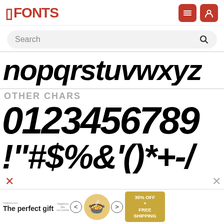FFONTS
[Figure (screenshot): Search bar with placeholder text 'Search' and magnifying glass icon]
[Figure (illustration): Stylized bold italic font display showing lowercase letters: nopqrstuvwxyz]
OTHER CHARS
[Figure (illustration): Stylized bold italic font display showing digits: 0123456789]
[Figure (illustration): Stylized bold italic font display showing special characters: !"#$%&'()*+-/]
[Figure (illustration): Advertisement banner: The perfect gift - 35% OFF + FREE SHIPPING]